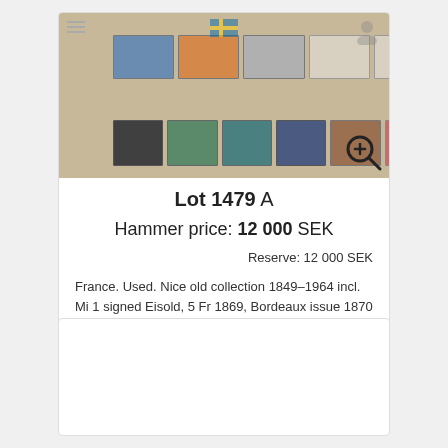[Figure (photo): Philatelic auction lot photo showing a stamp album page with vintage French stamps arranged in two rows, including various colors (blue, orange, gray, green, teal, dark blue, brown, pink). Navigation icons and Swedish flag watermark visible.]
Lot 1479 A
Hammer price: 12 000 SEK
Reserve: 12 000 SEK
France. Used. Nice old collection 1849–1964 incl. Mi 1 signed Eisold, 5 Fr 1869, Bordeaux issue 1870 complete,...
[Figure (photo): Second auction lot card area, blank/loading]